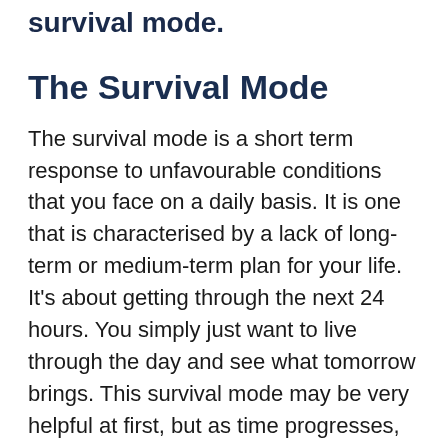survival mode.
The Survival Mode
The survival mode is a short term response to unfavourable conditions that you face on a daily basis. It is one that is characterised by a lack of long-term or medium-term plan for your life. It’s about getting through the next 24 hours. You simply just want to live through the day and see what tomorrow brings. This survival mode may be very helpful at first, but as time progresses, something more needs to be done. It is easy to get stuck in the survival mode, especially when conditions